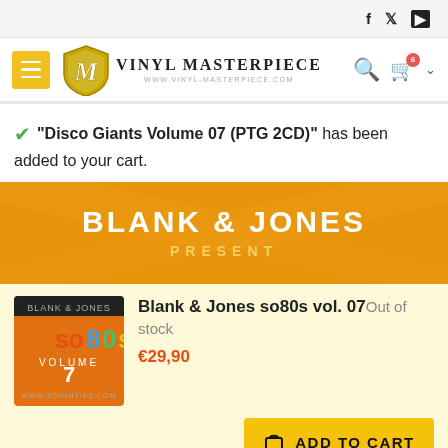Social icons: f, Twitter, YouTube | Vinyl Masterpiece navigation bar with search and cart
"Disco Giants Volume 07 (PTG 2CD)" has been added to your cart.
[Figure (illustration): Orange banner with white text: BLANK & JONES PRESENT]
[Figure (illustration): so80s vol. 07 album cover - orange background with so80s text]
Blank & Jones so80s vol. 07 Out of stock €29,90
ADD TO CART